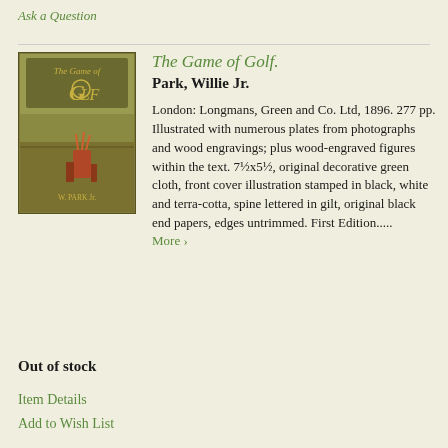Ask a Question
[Figure (photo): Book cover of 'The Game of Golf' by W. Park Jr. — olive/brown cloth cover with illustrated golf scene in terra-cotta and black, title text at top]
The Game of Golf.
Park, Willie Jr.
London: Longmans, Green and Co. Ltd, 1896. 277 pp. Illustrated with numerous plates from photographs and wood engravings; plus wood-engraved figures within the text. 7½x5½, original decorative green cloth, front cover illustration stamped in black, white and terra-cotta, spine lettered in gilt, original black end papers, edges untrimmed. First Edition.....
More >
Out of stock
Item Details
Add to Wish List